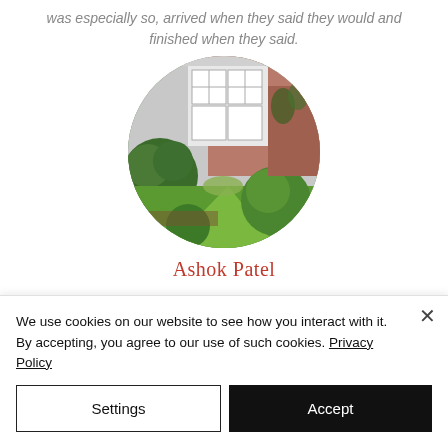was especially so, arrived when they said they would and finished when they said.
[Figure (photo): Circular cropped photo of a well-maintained garden with neatly trimmed round topiary bushes, green lawn, and a house with white bay windows in the background.]
Ashok Patel
We use cookies on our website to see how you interact with it. By accepting, you agree to our use of such cookies. Privacy Policy
Settings
Accept